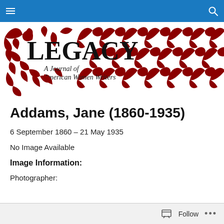Navigation bar with menu and search icons
[Figure (logo): LEGACY: A Journal of American Women Writers logo with red decorative floral/vine pattern banner]
Addams, Jane (1860-1935)
6 September 1860 – 21 May 1935
No Image Available
Image Information:
Photographer:
Follow ...